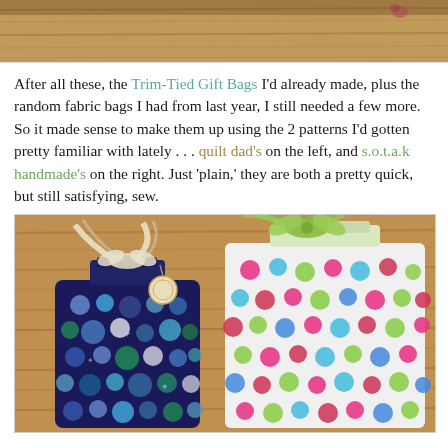[Figure (photo): Top portion of a photo showing a wooden floor background, partially cropped]
After all these, the Trim-Tied Gift Bags I'd already made, plus the random fabric bags I had from last year, I still needed a few more. So it made sense to make them up using the 2 patterns I'd gotten pretty familiar with lately . . . quilt dad's on the left, and s.o.t.a.k handmade's on the right. Just 'plain,' they are both a pretty quick, but still satisfying, sew.
[Figure (photo): Photo of two handmade fabric gift bags on a wooden floor. Left bag is dark navy blue with colorful circle/dot pattern, tied with a striped ribbon and has a small tag. Right bag is white/light with bright pink, green, blue, and red dot/flower pattern, tied with a green ribbon.]